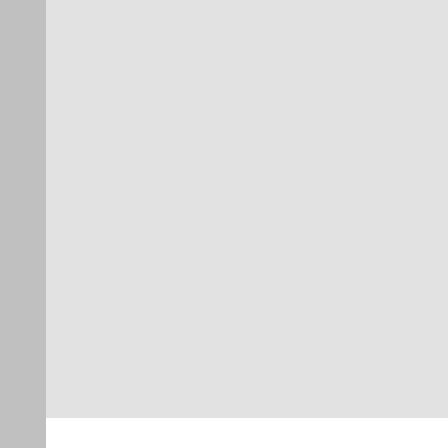Daniel Milstein  January 28
That is so true. As an author a... posted a fix to this problem on... down the instructions for me s... down again". I hope more peop... about. Can't wait to read more...
REPLY
Omni Chaparala  January 2
This is a helpful post. Saves a
REPLY
Thomas - Ways to Invest
I must say I had the Droid and... the texting as it would freeze o... love hate relationship. Ther...